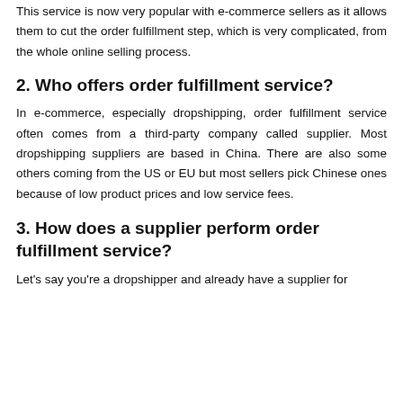This service is now very popular with e-commerce sellers as it allows them to cut the order fulfillment step, which is very complicated, from the whole online selling process.
2. Who offers order fulfillment service?
In e-commerce, especially dropshipping, order fulfillment service often comes from a third-party company called supplier. Most dropshipping suppliers are based in China. There are also some others coming from the US or EU but most sellers pick Chinese ones because of low product prices and low service fees.
3. How does a supplier perform order fulfillment service?
Let's say you're a dropshipper and already have a supplier for